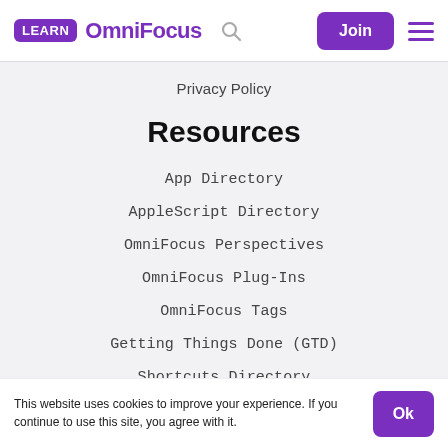LEARN OmniFocus
Privacy Policy
Resources
App Directory
AppleScript Directory
OmniFocus Perspectives
OmniFocus Plug-Ins
OmniFocus Tags
Getting Things Done (GTD)
Shortcuts Directory
This website uses cookies to improve your experience. If you continue to use this site, you agree with it.